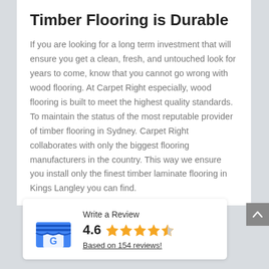Timber Flooring is Durable
If you are looking for a long term investment that will ensure you get a clean, fresh, and untouched look for years to come, know that you cannot go wrong with wood flooring. At Carpet Right especially, wood flooring is built to meet the highest quality standards. To maintain the status of the most reputable provider of timber flooring in Sydney. Carpet Right collaborates with only the biggest flooring manufacturers in the country. This way we ensure you install only the finest timber laminate flooring in Kings Langley you can find.
[Figure (logo): Google My Business storefront icon with blue awning and G logo]
Write a Review
4.6 ★★★★½
Based on 154 reviews!